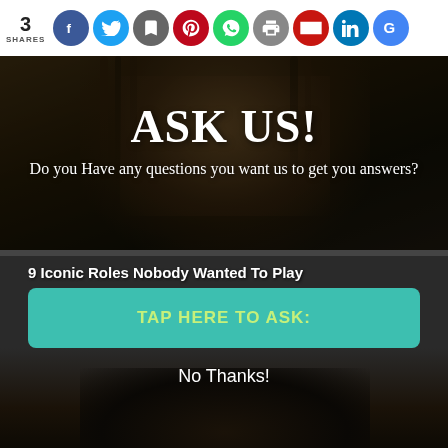3 SHARES
[Figure (screenshot): Social media share bar with icons for Facebook, Twitter, email/bookmark, Pinterest, WhatsApp, print, Gmail, LinkedIn, Google]
[Figure (photo): Dark moody photo of a man with dreadlocks and beard resembling a pirate character, with overlay popup asking 'ASK US! Do you Have any questions you want us to get you answers?']
ASK US!
Do you Have any questions you want us to get you answers?
9 Iconic Roles Nobody Wanted To Play
[Figure (screenshot): Teal/turquoise button with yellow-green text 'TAP HERE TO ASK:' on dark grey background]
No Thanks!